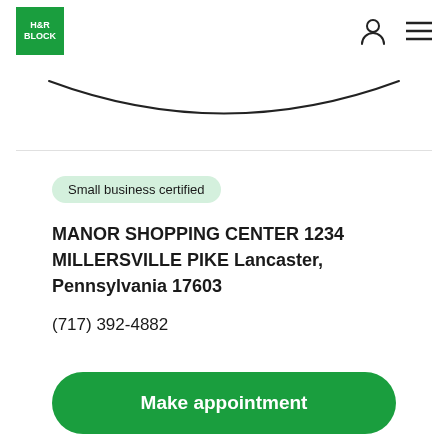H&R BLOCK
[Figure (other): Search bar with rounded bottom border curve]
Small business certified
MANOR SHOPPING CENTER 1234 MILLERSVILLE PIKE Lancaster, Pennsylvania 17603
(717) 392-4882
Make appointment